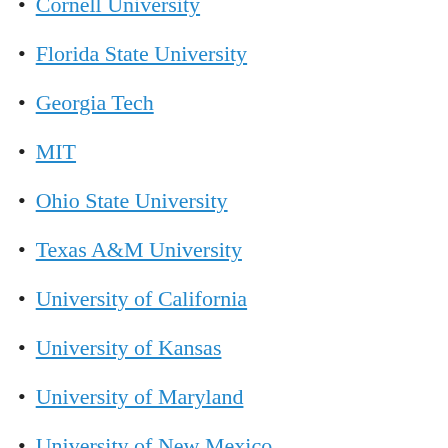Cornell University
Florida State University
Georgia Tech
MIT
Ohio State University
Texas A&M University
University of California
University of Kansas
University of Maryland
University of New Mexico
University of Oregon
University of Pennsylvania
University of Rochester
University of Tennessee
University of Toronto
University of Washington
University of Wisconsin